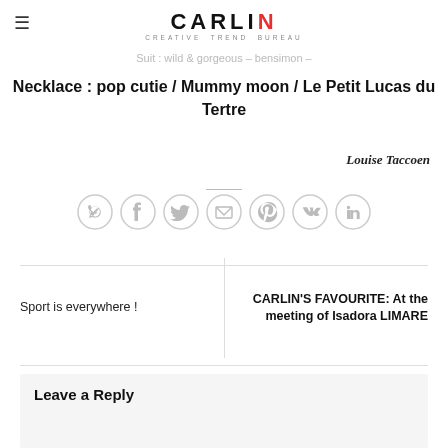CARLIN CREATIVE TREND BUREAU
Suit : wild & gorgeous – bensimon –
Necklace : pop cutie / Mummy moon / Le Petit Lucas du Tertre
Louise Taccoen
[Figure (infographic): Social share icons row: WhatsApp, Facebook, Twitter, Email, Pinterest, VK, LinkedIn]
Sport is everywhere !
CARLIN'S FAVOURITE: At the meeting of Isadora LIMARE
Leave a Reply